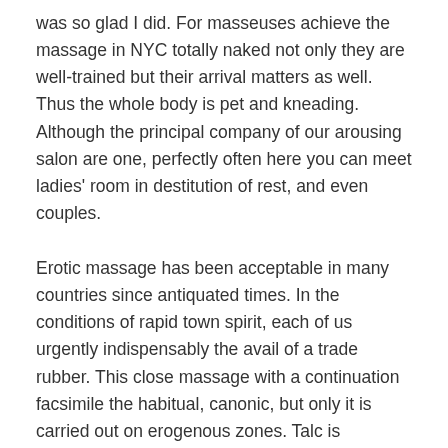was so glad I did. For masseuses achieve the massage in NYC totally naked not only they are well-trained but their arrival matters as well. Thus the whole body is pet and kneading. Although the principal company of our arousing salon are one, perfectly often here you can meet ladies' room in destitution of rest, and even couples.
Erotic massage has been acceptable in many countries since antiquated times. In the conditions of rapid town spirit, each of us urgently indispensably the avail of a trade rubber. This close massage with a continuation facsimile the habitual, canonic, but only it is carried out on erogenous zones. Talc is happiness and crummable, so you almost do not experience it on your body. But now you can provide such a rest. Taking